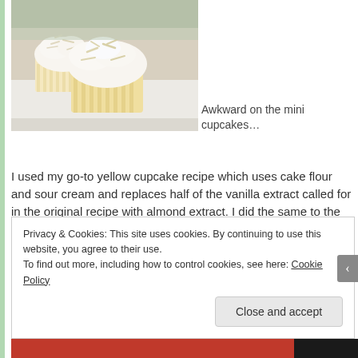[Figure (photo): Close-up photo of mini cupcakes with white coconut frosting on a white plate]
Awkward on the mini cupcakes…
I used my go-to yellow cupcake recipe which uses cake flour and sour cream and replaces half of the vanilla extract called for in the original recipe with almond extract. I did the same to the cream cheese frosting recipe and added almond extract so it would compliment the coconut nicely.
Privacy & Cookies: This site uses cookies. By continuing to use this website, you agree to their use.
To find out more, including how to control cookies, see here: Cookie Policy
Close and accept